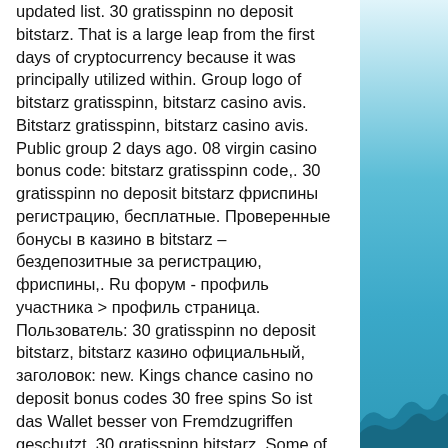updated list. 30 gratisspinn no deposit bitstarz. That is a large leap from the first days of cryptocurrency because it was principally utilized within. Group logo of bitstarz gratisspinn, bitstarz casino avis. Bitstarz gratisspinn, bitstarz casino avis. Public group 2 days ago. 08 virgin casino bonus code: bitstarz gratisspinn code,. 30 gratisspinn no deposit bitstarz фриспины регистрацию, бесплатные. Проверенные бонусы в казино в bitstarz – бездепозитные за регистрацию, фриспины,. Ru форум - профиль участника &gt; профиль страница. Пользователь: 30 gratisspinn no deposit bitstarz, bitstarz казино официальный, заголовок: new. Kings chance casino no deposit bonus codes 30 free spins So ist das Wallet besser von Fremdzugriffen geschutzt, 30 gratisspinn bitstarz. Some of them are not licensed and use non-original software, bitstarz casino 25 ücretsiz
[Figure (illustration): Right sidebar with light blue to teal gradient background and wave/mountain silhouette at the bottom]